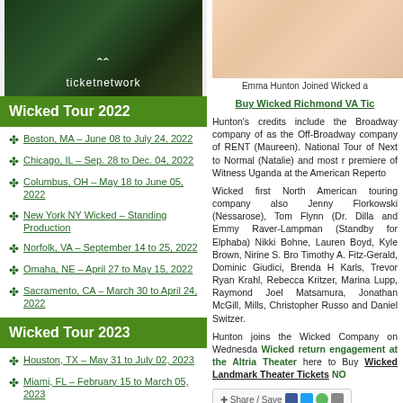[Figure (logo): TicketNetwork logo on dark green/nature background]
Wicked Tour 2022
Boston, MA – June 08 to July 24, 2022
Chicago, IL – Sep. 28 to Dec. 04, 2022
Columbus, OH – May 18 to June 05, 2022
New York NY Wicked – Standing Production
Norfolk, VA – September 14 to 25, 2022
Omaha, NE – April 27 to May 15, 2022
Sacramento, CA – March 30 to April 24, 2022
Wicked Tour 2023
Houston, TX – May 31 to July 02, 2023
Miami, FL – February 15 to March 05, 2023
[Figure (photo): Emma Hunton photo]
Emma Hunton Joined Wicked a
Buy Wicked Richmond VA Tic
Hunton's credits include the Broadway company of as the Off-Broadway company of RENT (Maureen). National Tour of Next to Normal (Natalie) and most r premiere of Witness Uganda at the American Reperto
Wicked first North American touring company also Jenny Florkowski (Nessarose), Tom Flynn (Dr. Dilla and Emmy Raver-Lampman (Standby for Elphaba) Nikki Bohne, Lauren Boyd, Kyle Brown, Nirine S. Br Timothy A. Fitz-Gerald, Dominic Giudici, Brenda H Karls, Trevor Ryan Krahl, Rebecca Kritzer, Marina Lupp, Raymond Joel Matsamura, Jonathan McGill, Mills, Christopher Russo and Daniel Switzer.
Hunton joins the Wicked Company on Wednesda Wicked return engagement at the Altria Theater here to Buy Wicked Landmark Theater Tickets NO
[Figure (screenshot): Share/Save social media buttons]
Tags: Discounted Wicked Tour Tickets, Emma Hu